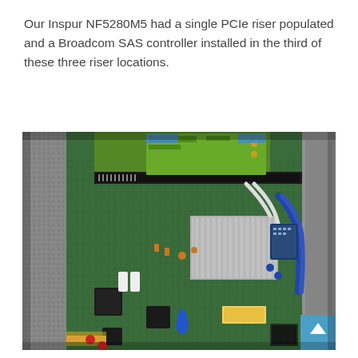Our Inspur NF5280M5 had a single PCIe riser populated and a Broadcom SAS controller installed in the third of these three riser locations.
[Figure (photo): Interior photograph of an Inspur NF5280M5 server showing the motherboard with a PCIe riser card populated with a Broadcom SAS controller, visible in the third riser location. The green motherboard shows various components including capacitors, connectors, cables (blue and white), and a heat sink. A metal chassis panel is visible on the left side.]